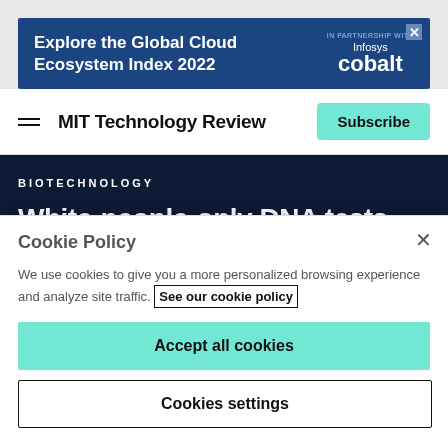[Figure (screenshot): Advertisement banner for Infosys Cobalt: 'Explore the Global Cloud Ecosystem Index 2022', blue background with IN PARTNERSHIP WITH Infosys cobalt branding and close button]
MIT Technology Review | Subscribe
BIOTECHNOLOGY
White-people-only DNA tests show how unequal science has become
Cookie Policy
We use cookies to give you a more personalized browsing experience and analyze site traffic. See our cookie policy
Accept all cookies
Cookies settings